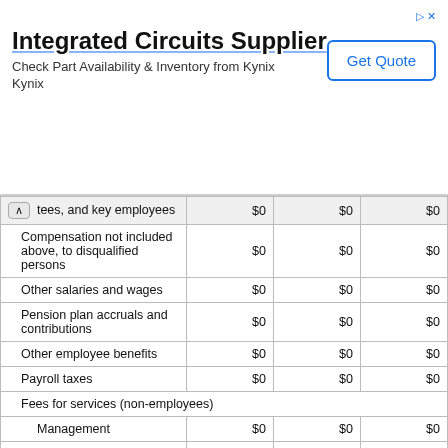[Figure (other): Advertisement banner for Integrated Circuits Supplier - Kynix. Title: 'Integrated Circuits Supplier'. Body: 'Check Part Availability & Inventory from Kynix Kynix'. Button: 'Get Quote'.]
| Description | Col1 | Col2 | Col3 |
| --- | --- | --- | --- |
| ...stees, and key employees | $0 | $0 | $0 |
| Compensation not included above, to disqualified persons | $0 | $0 | $0 |
| Other salaries and wages | $0 | $0 | $0 |
| Pension plan accruals and contributions | $0 | $0 | $0 |
| Other employee benefits | $0 | $0 | $0 |
| Payroll taxes | $0 | $0 | $0 |
| Fees for services (non-employees) |  |  |  |
| Management | $0 | $0 | $0 |
| Legal | $0 | $0 | $0 |
| Accounting | $0 | $0 | $0 |
| Lobbying | $0 | $0 | $0 |
| Professional fundraising services | $0 | $0 | $0 |
| Investment management fees | $0 | $0 | $0 |
| Other | $45,377 | $55,668 | $33,533 |